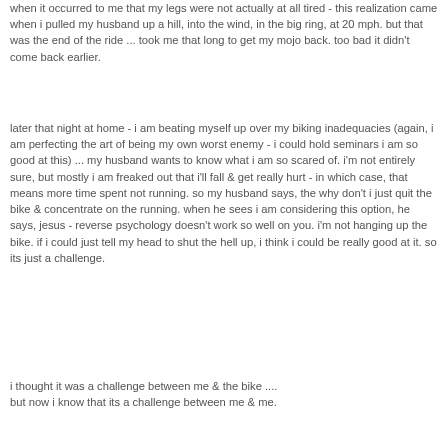when it occurred to me that my legs were not actually at all tired - this realization came when i pulled my husband up a hill, into the wind, in the big ring, at 20 mph. but that was the end of the ride ... took me that long to get my mojo back. too bad it didn't come back earlier.
later that night at home - i am beating myself up over my biking inadequacies (again, i am perfecting the art of being my own worst enemy - i could hold seminars i am so good at this) ... my husband wants to know what i am so scared of. i'm not entirely sure, but mostly i am freaked out that i'll fall & get really hurt - in which case, that means more time spent not running. so my husband says, the why don't i just quit the bike & concentrate on the running. when he sees i am considering this option, he says, jesus - reverse psychology doesn't work so well on you. i'm not hanging up the bike. if i could just tell my head to shut the hell up, i think i could be really good at it. so its just a challenge.
i thought it was a challenge between me & the bike .... but now i know that its a challenge between me & me.